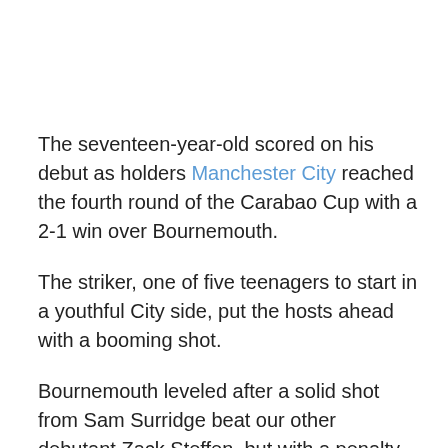The seventeen-year-old scored on his debut as holders Manchester City reached the fourth round of the Carabao Cup with a 2-1 win over Bournemouth.
The striker, one of five teenagers to start in a youthful City side, put the hosts ahead with a booming shot.
Bournemouth leveled after a solid shot from Sam Surridge beat our other debutant Zack Steffen, but with a penalty shootout nearing, the impressive Phil Foden sent City through with a tap in after Riyad Mahrez's effort came back off the post.